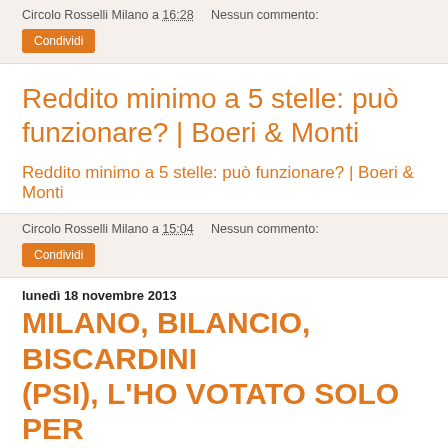Circolo Rosselli Milano a 16:28   Nessun commento:
Condividi
Reddito minimo a 5 stelle: può funzionare? | Boeri & Monti
Reddito minimo a 5 stelle: può funzionare? | Boeri & Monti
Circolo Rosselli Milano a 15:04   Nessun commento:
Condividi
lunedì 18 novembre 2013
MILANO, BILANCIO, BISCARDINI (PSI), L'HO VOTATO SOLO PER L'IMPEGNO A RIDURRE GLI AUMENTI DELL'ATM